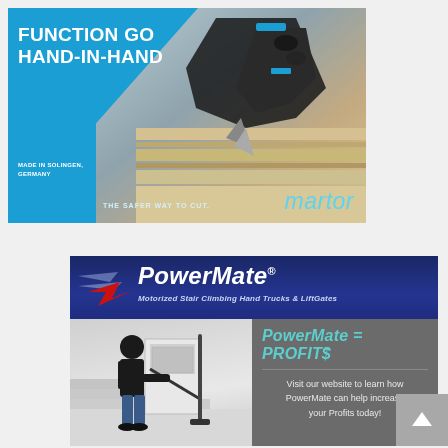[Figure (photo): Martor safety knife advertisement. Blue background with white bold text 'FUNCTION GO HAND-IN-HAND', close-up photo of a safety knife cutting cardboard, 'MADE IN SOLINGEN, GERMANY' text, tagline 'THE SAFER WAY TO CUT.' and martor brand logo in teal.]
[Figure (photo): PowerMate advertisement. Dark blue header banner with PowerMate logo and tagline 'Motorized Stair Climbing Hand Trucks & LiftGates'. Lower section shows a man using a hand truck on stairs on left, and on the right a dark gray panel with text 'PowerMate = PROFITS' in teal and 'Visit our website to learn how PowerMate can help increase your Profits today!']